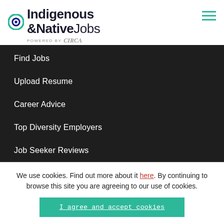Indigenous &NativeJobs powered by Circa
Find Jobs
Upload Resume
Career Advice
Top Diversity Employers
Job Seeker Reviews
We use cookies. Find out more about it here. By continuing to browse this site you are agreeing to our use of cookies.
I agree and accept cookies